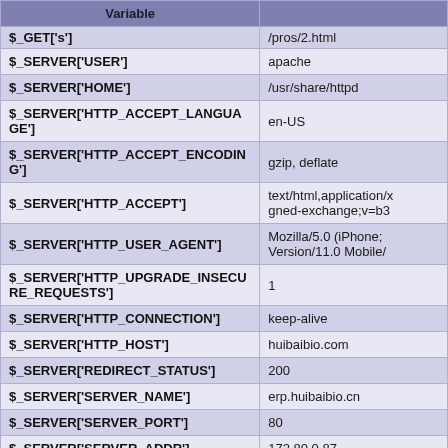| Variable |  |
| --- | --- |
| $_GET['s'] | /pros/2.html |
| $_SERVER['USER'] | apache |
| $_SERVER['HOME'] | /usr/share/httpd |
| $_SERVER['HTTP_ACCEPT_LANGUAGE'] | en-US |
| $_SERVER['HTTP_ACCEPT_ENCODING'] | gzip, deflate |
| $_SERVER['HTTP_ACCEPT'] | text/html,application/xhtml+xml,application/xml;q=0.9,image/webp,image/apng,*/*;q=0.8,application/signed-exchange;v=b3 |
| $_SERVER['HTTP_USER_AGENT'] | Mozilla/5.0 (iPhone; CPU iPhone OS 11_0 like Mac OS X) AppleWebKit/604.1.38 (KHTML, like Gecko) Version/11.0 Mobile/15A372 Safari/604.1 |
| $_SERVER['HTTP_UPGRADE_INSECURE_REQUESTS'] | 1 |
| $_SERVER['HTTP_CONNECTION'] | keep-alive |
| $_SERVER['HTTP_HOST'] | huibaibio.com |
| $_SERVER['REDIRECT_STATUS'] | 200 |
| $_SERVER['SERVER_NAME'] | erp.huibaibio.cn |
| $_SERVER['SERVER_PORT'] | 80 |
| $_SERVER['SERVER_ADDR'] | 172.80.0.87 |
| $_SERVER['REMOTE_PORT'] | 58671 |
| $_SERVER['REMOTE_ADDR'] | 3.83.36.232 |
| $_SERVER['SERVER_SOFTWARE'] | nginx/1.16.1 |
| $_SERVER['GATEWAY_INTERFACE'] | CGI/1.1 |